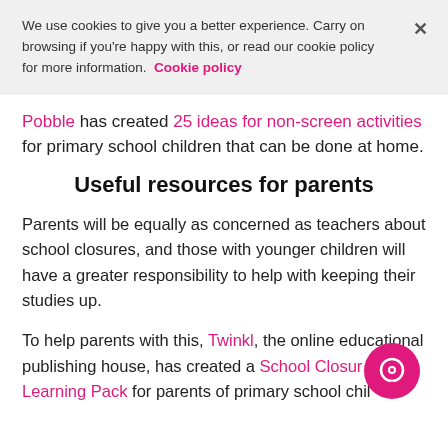We use cookies to give you a better experience. Carry on browsing if you're happy with this, or read our cookie policy for more information.  Cookie policy
Pobble has created 25 ideas for non-screen activities for primary school children that can be done at home.
Useful resources for parents
Parents will be equally as concerned as teachers about school closures, and those with younger children will have a greater responsibility to help with keeping their studies up.
To help parents with this, Twinkl, the online educational publishing house, has created a School Closure Learning Pack for parents of primary school children to